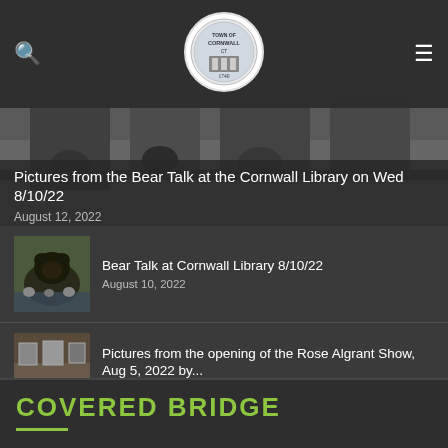[Figure (screenshot): Navigation bar with search icon, Town of Cornwall CT 1740 circular seal logo, and hamburger menu icon]
[Figure (photo): Featured article thumbnail showing people in a room at a bear talk event at Cornwall Library]
Pictures from the Bear Talk at the Cornwall Library on Wed 8/10/22
August 12, 2022
[Figure (photo): Black bear in a natural outdoor setting]
Bear Talk at Cornwall Library 8/10/22
August 10, 2022
[Figure (photo): Gallery opening scene with people and artwork]
Pictures from the opening of the Rose Algrant Show, Aug 5, 2022 by...
August 6, 2022
[Figure (photo): Woman standing in front of framed portraits in a gallery installation]
Pictures from the hanging of the Rose Algrant Show at the Cornwall...
August 4, 2022
COVERED BRIDGE